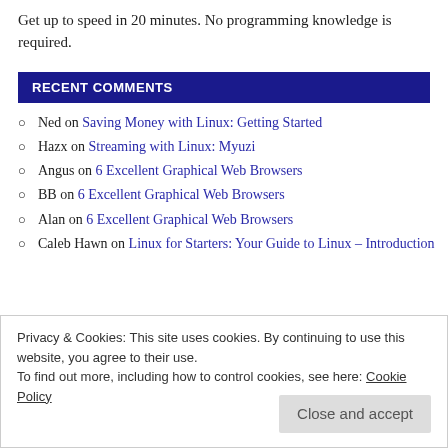Get up to speed in 20 minutes. No programming knowledge is required.
RECENT COMMENTS
Ned on Saving Money with Linux: Getting Started
Hazx on Streaming with Linux: Myuzi
Angus on 6 Excellent Graphical Web Browsers
BB on 6 Excellent Graphical Web Browsers
Alan on 6 Excellent Graphical Web Browsers
Caleb Hawn on Linux for Starters: Your Guide to Linux – Introduction
Privacy & Cookies: This site uses cookies. By continuing to use this website, you agree to their use.
To find out more, including how to control cookies, see here: Cookie Policy